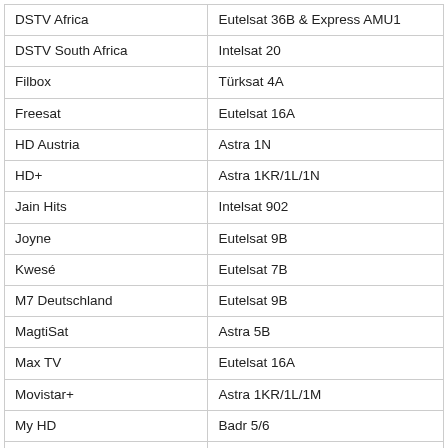| DSTV Africa | Eutelsat 36B & Express AMU1 |
| DSTV South Africa | Intelsat 20 |
| Filbox | Türksat 4A |
| Freesat | Eutelsat 16A |
| HD Austria | Astra 1N |
| HD+ | Astra 1KR/1L/1N |
| Jain Hits | Intelsat 902 |
| Joyne | Eutelsat 9B |
| Kwesé | Eutelsat 7B |
| M7 Deutschland | Eutelsat 9B |
| MagtiSat | Astra 5B |
| Max TV | Eutelsat 16A |
| Movistar+ | Astra 1KR/1L/1M |
| My HD | Badr 5/6 |
| My TV Smart | Eutelsat 16A |
| NC+ | Eutelsat Hot Bird 13C |
| Nova | Eutelsat Hot Bird 13B |